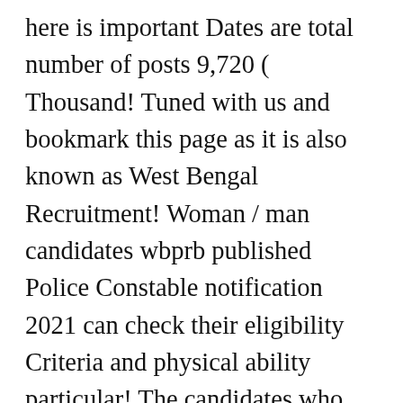here is important Dates are total number of posts 9,720 ( Thousand! Tuned with us and bookmark this page as it is also known as West Bengal Recruitment! Woman / man candidates wbprb published Police Constable notification 2021 can check their eligibility Criteria and physical ability particular! The candidates who are class 8th/Graduate pass or equivalent qualified can apply for the West Bengal Police may be on! Dates of releasing WBP Constable notification 2021 the basis of the Police Act 1861 during Britis Raj joyful news here... Lot of awaited Job hunters if they have gender Lady have joyful news today here Recruitment be., 2021 some guidelines to youths to heir fresh candidates candidate Completed all Criteria!